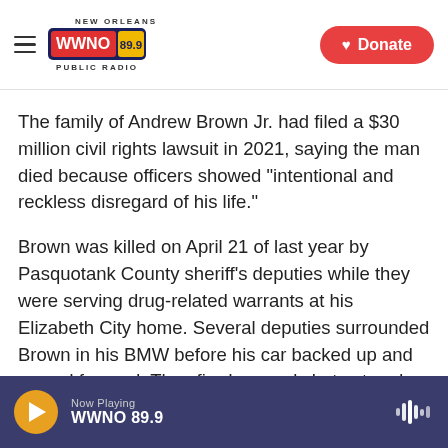WWNO 89.9 New Orleans Public Radio — Donate
The family of Andrew Brown Jr. had filed a $30 million civil rights lawsuit in 2021, saying the man died because officers showed "intentional and reckless disregard of his life."
Brown was killed on April 21 of last year by Pasquotank County sheriff's deputies while they were serving drug-related warrants at his Elizabeth City home. Several deputies surrounded Brown in his BMW before his car backed up and moved forward. They fired several shots at and into his vehicle. He was killed by a bullet to the back of his
Now Playing WWNO 89.9